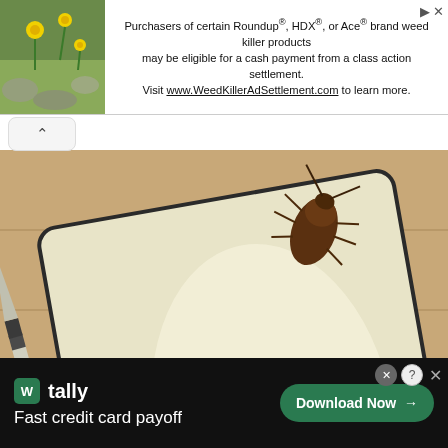[Figure (screenshot): Top banner advertisement for Roundup/HDX/Ace weed killer class action settlement with flower image on left]
Purchasers of certain Roundup®, HDX®, or Ace® brand weed killer products may be eligible for a cash payment from a class action settlement. Visit www.WeedKillerAdSettlement.com to learn more.
[Figure (photo): Photo of a cockroach on a cutting board with a knife, viewed from above]
Odd Trick To Decimate Roaches (You'll Wish You Saw It Sooner)
BugMD
[Figure (screenshot): Help Palmer banner with red pill-shaped button over background image]
[Figure (screenshot): Tally app bottom advertisement: Fast credit card payoff with Download Now button]